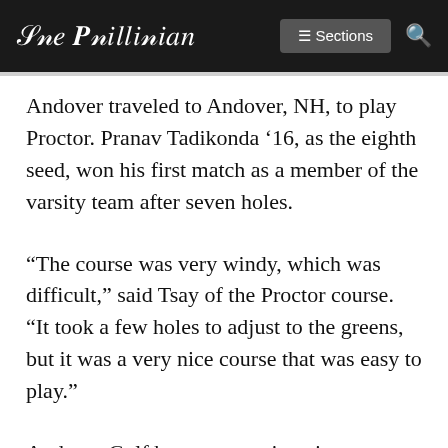The Phillipian — Sections
Andover traveled to Andover, NH, to play Proctor. Pranav Tadikonda '16, as the eighth seed, won his first match as a member of the varsity team after seven holes.
“The course was very windy, which was difficult,” said Tsay of the Proctor course. “It took a few holes to adjust to the greens, but it was a very nice course that was easy to play.”
Andover Golf hopes to continue its